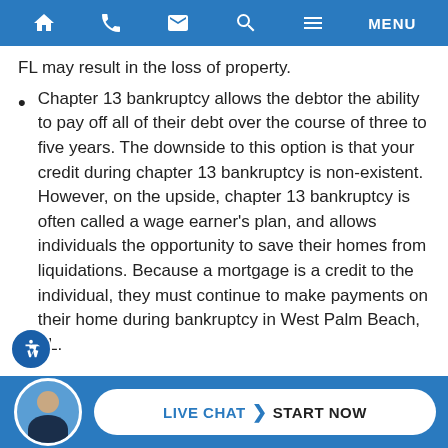Navigation bar with home, phone, email, search, and menu icons
FL may result in the loss of property.
Chapter 13 bankruptcy allows the debtor the ability to pay off all of their debt over the course of three to five years. The downside to this option is that your credit during chapter 13 bankruptcy is non-existent. However, on the upside, chapter 13 bankruptcy is often called a wage earner's plan, and allows individuals the opportunity to save their homes from liquidations. Because a mortgage is a credit to the individual, they must continue to make payments on their home during bankruptcy in West Palm Beach, FL.
LIVE CHAT START NOW